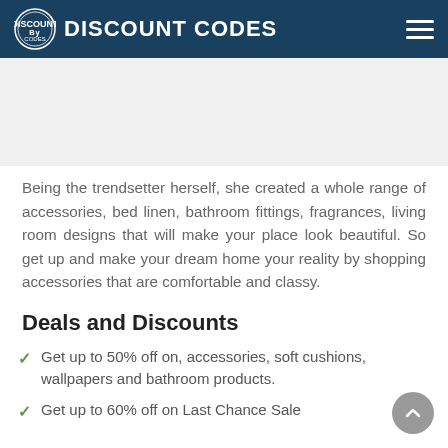DISCOUNT CODES
Being the trendsetter herself, she created a whole range of accessories, bed linen, bathroom fittings, fragrances, living room designs that will make your place look beautiful. So get up and make your dream home your reality by shopping accessories that are comfortable and classy.
Deals and Discounts
Get up to 50% off on, accessories, soft cushions, wallpapers and bathroom products.
Get up to 60% off on Last Chance Sale